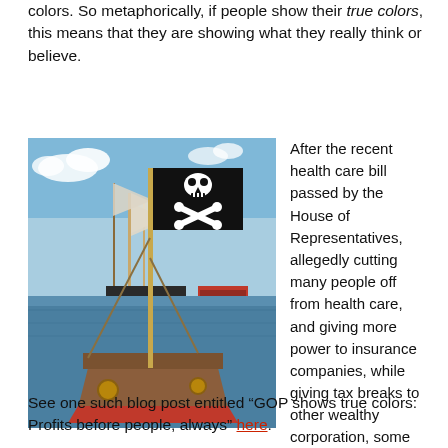colors. So metaphorically, if people show their true colors, this means that they are showing what they really think or believe.
[Figure (photo): A pirate flag (skull and crossbones) flying on a small wooden boat in a harbor, with a tall sailing ship in the background.]
After the recent health care bill passed by the House of Representatives, allegedly cutting many people off from health care, and giving more power to insurance companies, while giving tax breaks to other wealthy corporation, some liberal critics complained that the Republicans were showing their true colors.
See one such blog post entitled “GOP shows true colors: Profits before people, always” here.